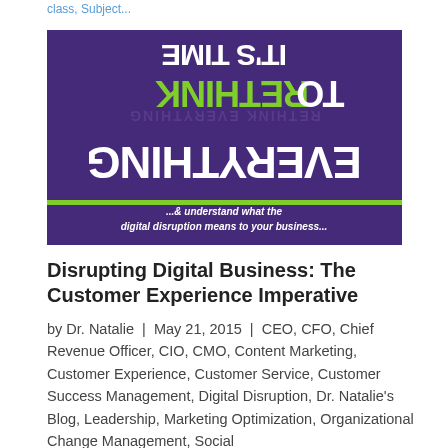class, Subject...
[Figure (illustration): Book cover with purple background showing upside-down bold white text 'EVERYTHING', green text 'RETHINK', white text 'TO', white text 'IT'S TIME', a green horizontal bar, and white italic bold text '...& understand what the digital disruption means to your business...']
Disrupting Digital Business: The Customer Experience Imperative
by Dr. Natalie | May 21, 2015 | CEO, CFO, Chief Revenue Officer, CIO, CMO, Content Marketing, Customer Experience, Customer Service, Customer Success Management, Digital Disruption, Dr. Natalie's Blog, Leadership, Marketing Optimization, Organizational Change Management, Social